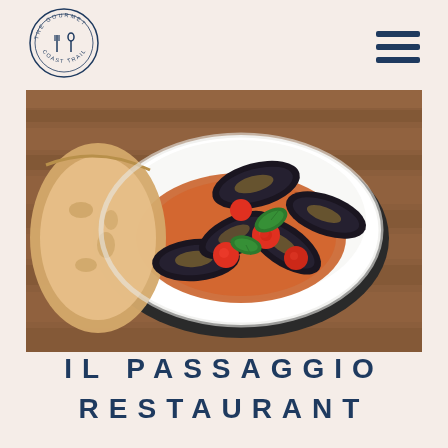[Figure (logo): Circular logo for The Gourmet Coast Trail with fork and spoon icon in the center]
[Figure (photo): Food photograph showing a white bowl of mussels in tomato broth with cherry tomatoes and basil leaves, served on a dark plate with crusty bread on a wooden table]
IL PASSAGGIO RESTAURANT